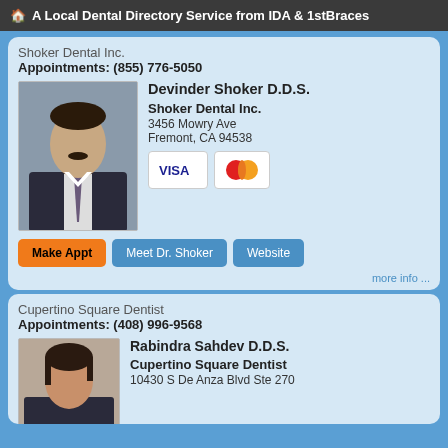A Local Dental Directory Service from IDA & 1stBraces
Shoker Dental Inc.
Appointments: (855) 776-5050
[Figure (photo): Headshot photo of Devinder Shoker D.D.S., a man in a dark suit with a tie]
Devinder Shoker D.D.S.
Shoker Dental Inc.
3456 Mowry Ave
Fremont, CA 94538
[Figure (logo): VISA and Mastercard payment icons]
Make Appt   Meet Dr. Shoker   Website
more info ...
Cupertino Square Dentist
Appointments: (408) 996-9568
[Figure (photo): Headshot photo of Rabindra Sahdev D.D.S., a woman with dark hair]
Rabindra Sahdev D.D.S.
Cupertino Square Dentist
10430 S De Anza Blvd Ste 270